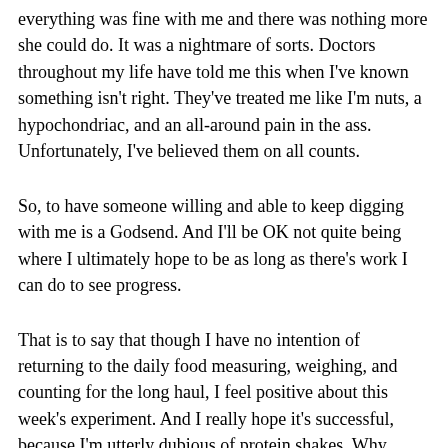everything was fine with me and there was nothing more she could do. It was a nightmare of sorts. Doctors throughout my life have told me this when I've known something isn't right. They've treated me like I'm nuts, a hypochondriac, and an all-around pain in the ass. Unfortunately, I've believed them on all counts.
So, to have someone willing and able to keep digging with me is a Godsend. And I'll be OK not quite being where I ultimately hope to be as long as there's work I can do to see progress.
That is to say that though I have no intention of returning to the daily food measuring, weighing, and counting for the long haul, I feel positive about this week's experiment. And I really hope it's successful, because I'm utterly dubious of protein shakes. Why would I eat fake food with a fake sweetness when it's all about real food and slaying the sugar dragon?
Today was also good because I had a facial, something I also did